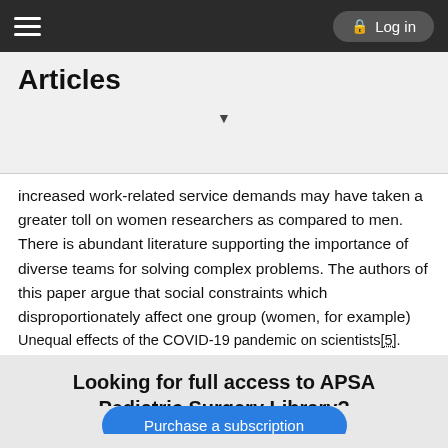Articles  Log in
Articles
increased work-related service demands may have taken a greater toll on women researchers as compared to men. There is abundant literature supporting the importance of diverse teams for solving complex problems. The authors of this paper argue that social constraints which disproportionately affect one group (women, for example) over another (men) could have profound negative consequences for our national and global response to the Covid-19 pandemic.
Unequal effects of the COVID-19 pandemic on scientists[5]. Myers KR. Nat Hum Behav. 2020 Sep;4(9):880-883.
Looking for full access to APSA Pediatric Surgery Library?
Purchase a subscription
I'm already a subscriber